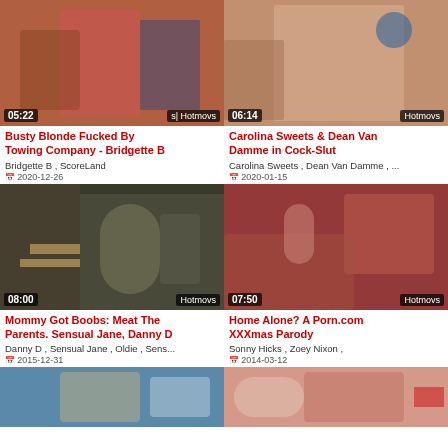[Figure (screenshot): Video thumbnail 1 with duration 05:22 and Hotmovs watermark]
Busty Blonde Fucked By Towing Company - Bridgette B
Bridgette B , ScoreLand
2020-12-26
[Figure (screenshot): Video thumbnail 2 with duration 06:14 and Hotmovs watermark]
Carolina Sweets & Dean Van Damme in Cock-Slut
Carolina Sweets , Dean Van Damme , ...
2020-01-15
[Figure (screenshot): Video thumbnail 3 with duration 08:00 and Hotmovs watermark]
Mommy Got Boobs: Meat The Parents. Sensual Jane, Danny D
Danny D , Sensual Jane , Oldie , Sens...
2015-12-31
[Figure (screenshot): Video thumbnail 4 with duration 07:50 and Hotmovs watermark]
Home Alone? A Porn.com XXXmas Parody
Sonny Hicks , Zoey Nixon ,
2014-03-12
[Figure (screenshot): Video thumbnail 5 - partial view]
[Figure (screenshot): Video thumbnail 6 - partial view]